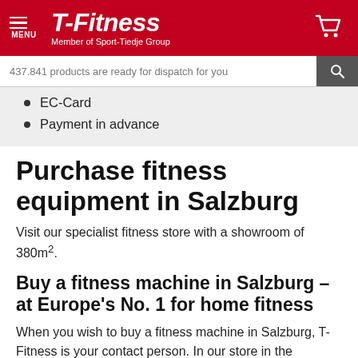T-Fitness – Member of Sport-Tiedje Group
437.841 products are ready for dispatch for you
EC-Card
Payment in advance
Purchase fitness equipment in Salzburg
Visit our specialist fitness store with a showroom of 380m².
Buy a fitness machine in Salzburg – at Europe's No. 1 for home fitness
When you wish to buy a fitness machine in Salzburg, T-Fitness is your contact person. In our store in the Schallmooser Hauptstraße 16, you find high-quality